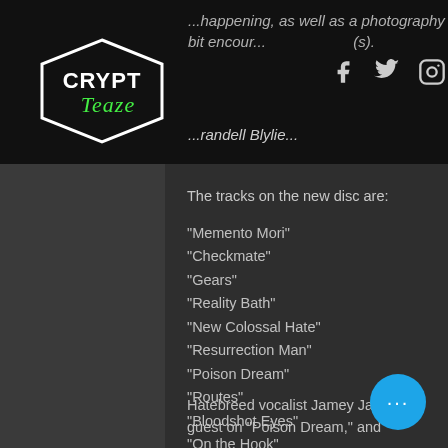[Figure (logo): Crypt Teaze logo - white text with green cursive accent on black background, hexagonal border]
...happening, as well as a photography bit encouraging...
Randell Blythe...
The tracks on the new disc are:
“Memento Mori”
“Checkmate”
“Gears”
“Reality Bath”
“New Colossal Hate”
“Resurrection Man”
“Poison Dream”
“Routes”
“Bloodshot Eyes”
“On the Hook”
Hatebreed vocalist Jamey Jasta w... guest on “Poison Dream,” and